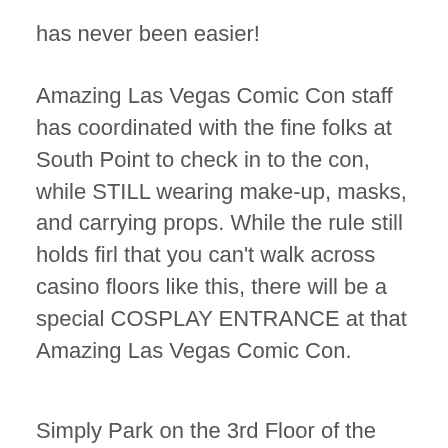has never been easier!
Amazing Las Vegas Comic Con staff has coordinated with the fine folks at South Point to check in to the con, while STILL wearing make-up, masks, and carrying props. While the rule still holds firl that you can't walk across casino floors like this, there will be a special COSPLAY ENTRANCE at that Amazing Las Vegas Comic Con.
Simply Park on the 3rd Floor of the West building, follow the signs down the stairs and you can enter near the Arena. This Special Entrance for Costumers is open 2 hours BEFORE the Amazing Las Vegas Comic Con each day, and 1 hour